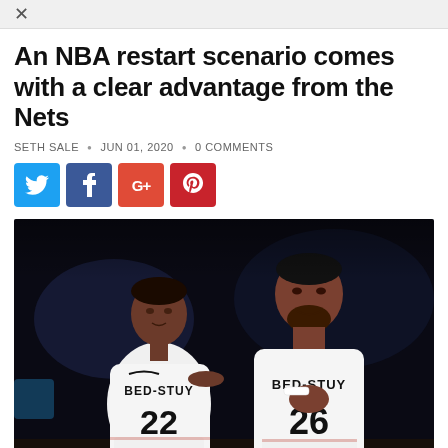An NBA restart scenario comes with a clear advantage from the Nets
SETH SALE • JUN 01, 2020 • 0 COMMENTS
[Figure (other): Social media share buttons: Twitter (blue), Facebook (dark blue), Google+ (red-orange), Pinterest (red)]
[Figure (photo): Two Brooklyn Nets basketball players in white BED-STUY jerseys, numbers 22 and 26, on a dark arena court]